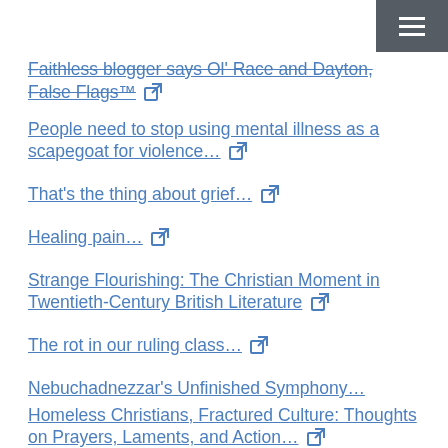Faithless blogger says Ol' Race and Dayton, False Flags™ [external link]
People need to stop using mental illness as a scapegoat for violence… [external link]
That's the thing about grief… [external link]
Healing pain… [external link]
Strange Flourishing: The Christian Moment in Twentieth-Century British Literature [external link]
The rot in our ruling class… [external link]
Nebuchadnezzar's Unfinished Symphony…
Homeless Christians, Fractured Culture: Thoughts on Prayers, Laments, and Action… [external link]
Thanks as always to EricL for the link help…support him at top right…